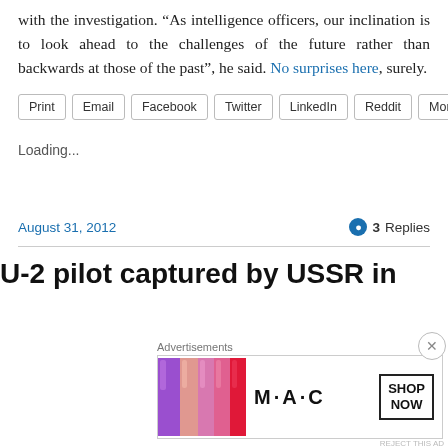with the investigation. “As intelligence officers, our inclination is to look ahead to the challenges of the future rather than backwards at those of the past”, he said. No surprises here, surely.
Print | Email | Facebook | Twitter | LinkedIn | Reddit | More
Loading...
August 31, 2012   3 Replies
U-2 pilot captured by USSR in
[Figure (screenshot): Advertisement banner for M·A·C cosmetics showing lipsticks and a SHOP NOW button]